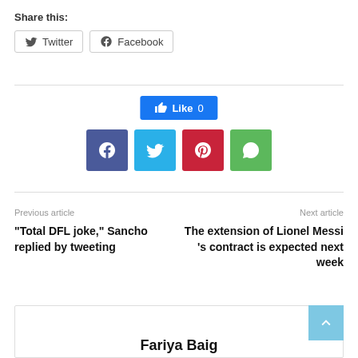Share this:
[Figure (screenshot): Twitter and Facebook share buttons]
[Figure (screenshot): Facebook Like button showing count 0]
[Figure (screenshot): Social media share icons: Facebook, Twitter, Pinterest, WhatsApp]
Previous article
“Total DFL joke,” Sancho replied by tweeting
Next article
The extension of Lionel Messi ’s contract is expected next week
Fariya Baig